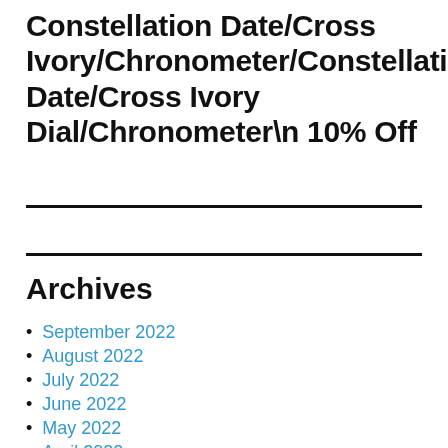Constellation Date/Cross Ivory/Chronometer/Constellation Date/Cross Ivory Dial/Chronometer\n 10% Off
Archives
September 2022
August 2022
July 2022
June 2022
May 2022
April 2022